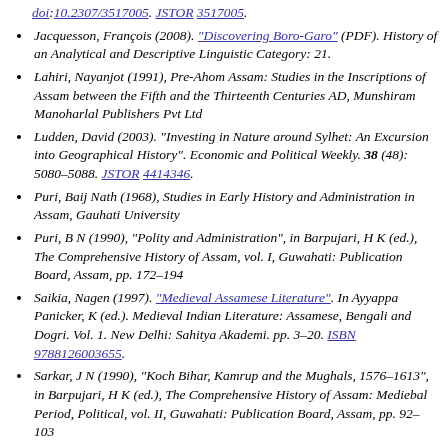doi:10.2307/3517005. JSTOR 3517005.
Jacquesson, François (2008). "Discovering Boro-Garo" (PDF). History of an Analytical and Descriptive Linguistic Category: 21.
Lahiri, Nayanjot (1991), Pre-Ahom Assam: Studies in the Inscriptions of Assam between the Fifth and the Thirteenth Centuries AD, Munshiram Manoharlal Publishers Pvt Ltd
Ludden, David (2003). "Investing in Nature around Sylhet: An Excursion into Geographical History". Economic and Political Weekly. 38 (48): 5080–5088. JSTOR 4414346.
Puri, Baij Nath (1968), Studies in Early History and Administration in Assam, Gauhati University
Puri, B N (1990), "Polity and Administration", in Barpujari, H K (ed.), The Comprehensive History of Assam, vol. I, Guwahati: Publication Board, Assam, pp. 172–194
Saikia, Nagen (1997). "Medieval Assamese Literature". In Ayyappa Panicker, K (ed.). Medieval Indian Literature: Assamese, Bengali and Dogri. Vol. 1. New Delhi: Sahitya Akademi. pp. 3–20. ISBN 9788126003655.
Sarkar, J N (1990), "Koch Bihar, Kamrup and the Mughals, 1576–1613", in Barpujari, H K (ed.), The Comprehensive History of Assam: Mediebal Period, Political, vol. II, Guwahati: Publication Board, Assam, pp. 92–103
Sarkar, J. N. (1992), "Chapter II The Turko-Afghan Invasions", in Barpujari, H. K. (ed.), The Comprehensive